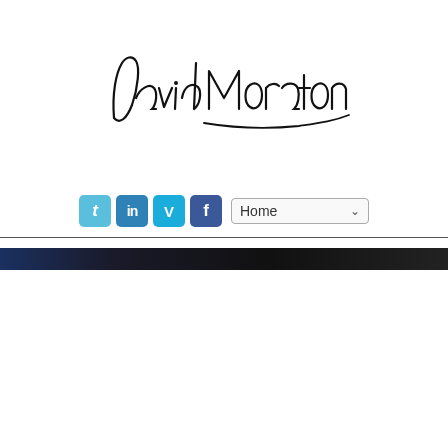[Figure (illustration): Handwritten signature reading 'David Moraton' in black cursive script on white background]
[Figure (infographic): Social media icons for Twitter, LinkedIn, Vimeo, Facebook, followed by a Home navigation dropdown]
[Figure (other): Thin horizontal dark divider line followed by a dark gradient bar (blue-black) spanning full width]